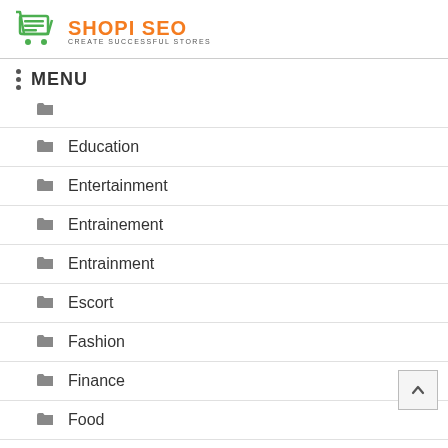SHOPI SEO - CREATE SUCCESSFUL STORES
MENU
Education
Entertainment
Entrainement
Entrainment
Escort
Fashion
Finance
Food
Gambling